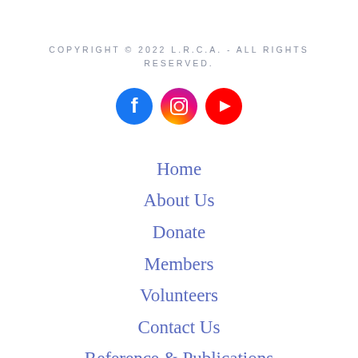COPYRIGHT © 2022 L.R.C.A. - ALL RIGHTS RESERVED.
[Figure (illustration): Three social media icons: Facebook (blue circle with 'f'), Instagram (pink/purple circle with camera icon), YouTube (red circle with play button)]
Home
About Us
Donate
Members
Volunteers
Contact Us
Reference & Publications
Press